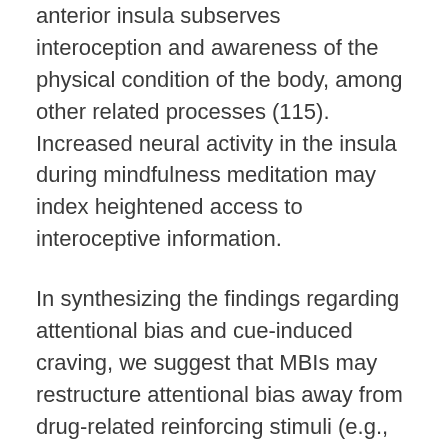anterior insula subserves interoception and awareness of the physical condition of the body, among other related processes (115). Increased neural activity in the insula during mindfulness meditation may index heightened access to interoceptive information.
In synthesizing the findings regarding attentional bias and cue-induced craving, we suggest that MBIs may restructure attentional bias away from drug-related reinforcing stimuli (e.g., drug-cues, negative affective stimuli) and facilitate the addict's attempts to deal with associated cravings. We posit that mindfulness-centered regulation of cue-elicited appetitive responses occurs as a result of strengthening frontal connections in it...